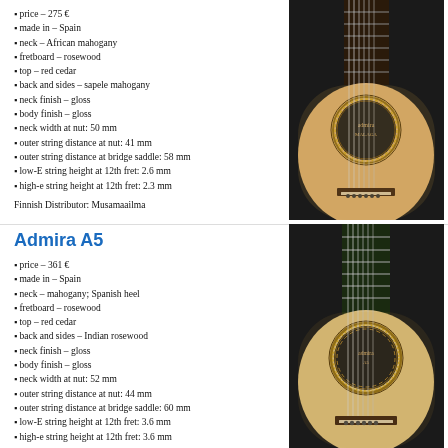price – 275 €
made in – Spain
neck – African mahogany
fretboard – rosewood
top – red cedar
back and sides – sapele mahogany
neck finish – gloss
body finish – gloss
neck width at nut: 50 mm
outer string distance at nut: 41 mm
outer string distance at bridge saddle: 58 mm
low-E string height at 12th fret: 2.6 mm
high-e string height at 12th fret: 2.3 mm
Finnish Distributor: Musamaailma
[Figure (photo): Close-up photo of a classical guitar body showing the soundhole, strings, and bridge area. Natural wood top with decorative rosette around soundhole.]
Admira A5
price – 361 €
made in – Spain
neck – mahogany; Spanish heel
fretboard – rosewood
top – red cedar
back and sides – Indian rosewood
neck finish – gloss
body finish – gloss
neck width at nut: 52 mm
outer string distance at nut: 44 mm
outer string distance at bridge saddle: 60 mm
low-E string height at 12th fret: 3.6 mm
high-e string height at 12th fret: 3.6 mm
Finnish Distributor: Musamaailma
[Figure (photo): Close-up photo of an Admira A5 classical guitar body showing the soundhole with decorative rosette, strings, and bridge. Natural cedar top.]